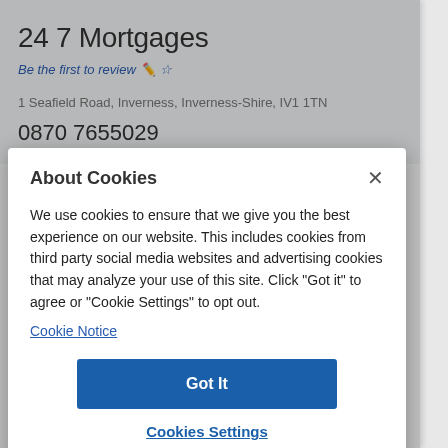24 7 Mortgages
Be the first to review ✏️☆
1 Seafield Road, Inverness, Inverness-Shire, IV1 1TN
0870 7655029
About Cookies
We use cookies to ensure that we give you the best experience on our website. This includes cookies from third party social media websites and advertising cookies that may analyze your use of this site. Click "Got it" to agree or "Cookie Settings" to opt out.
Cookie Notice
Got It
Cookies Settings